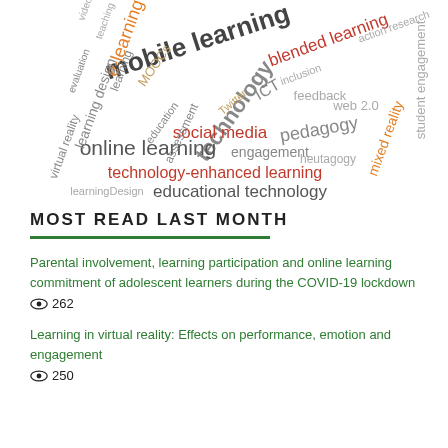[Figure (infographic): Word cloud related to educational technology topics including: mobile learning, blended learning, e-learning, technology, online learning, technology-enhanced learning, educational technology, social media, pedagogy, mixed reality, student engagement, virtual reality, learning design, MOOCs, engagement, heutagogy, ICT, web 2.0, feedback, Twitter, inclusion, action research, video, teaching, evaluation, education, assessment, learningDesign]
MOST READ LAST MONTH
Parental involvement, learning participation and online learning commitment of adolescent learners during the COVID-19 lockdown
262
Learning in virtual reality: Effects on performance, emotion and engagement
250